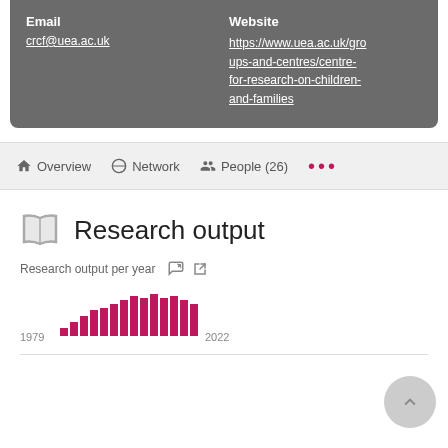Email: crcf@uea.ac.uk | Website: https://www.uea.ac.uk/groups-and-centres/centre-for-research-on-children-and-families
Overview | Network | People (26) | ...
Research output
[Figure (bar-chart): Research output per year]